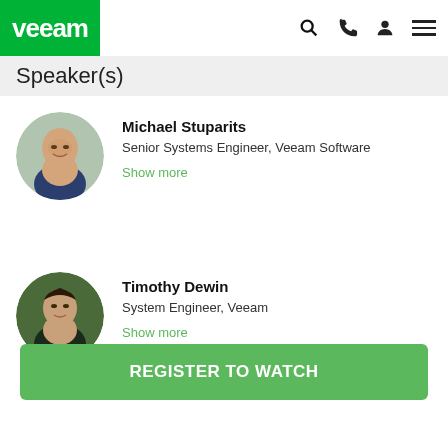Veeam
Speaker(s)
Michael Stuparits
Senior Systems Engineer, Veeam Software
Show more
Timothy Dewin
System Engineer, Veeam
Show more
REGISTER TO WATCH